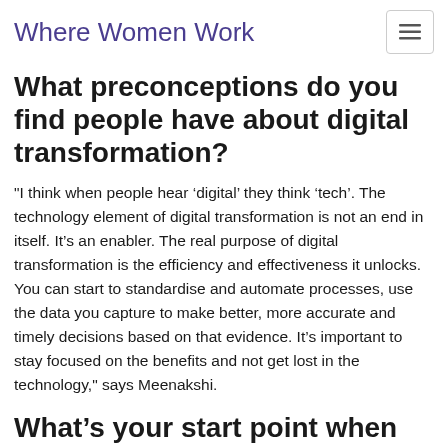Where Women Work
What preconceptions do you find people have about digital transformation?
"I think when people hear ‘digital’ they think ‘tech’. The technology element of digital transformation is not an end in itself. It’s an enabler. The real purpose of digital transformation is the efficiency and effectiveness it unlocks. You can start to standardise and automate processes, use the data you capture to make better, more accurate and timely decisions based on that evidence. It’s important to stay focused on the benefits and not get lost in the technology," says Meenakshi.
What’s your start point when advising local authorities on digital